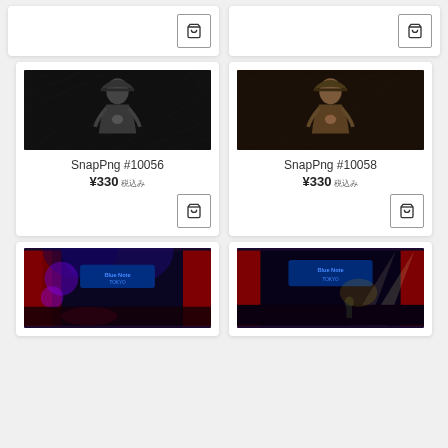[Figure (other): Partial product card with shopping cart button at top (cropped from previous scroll)]
[Figure (other): Partial product card with shopping cart button at top (cropped from previous scroll)]
[Figure (photo): Black and white photo of a person wearing a cowboy hat on a dark background]
SnapPng #10056
¥330 税込み
[Figure (photo): Sepia/color photo of a person wearing a cowboy hat on a dark background]
SnapPng #10058
¥330 税込み
[Figure (photo): Color photo of Blue Note Tokyo jazz venue with blue neon sign and red curtains]
[Figure (photo): Color photo of Blue Note Tokyo jazz venue with spotlight]